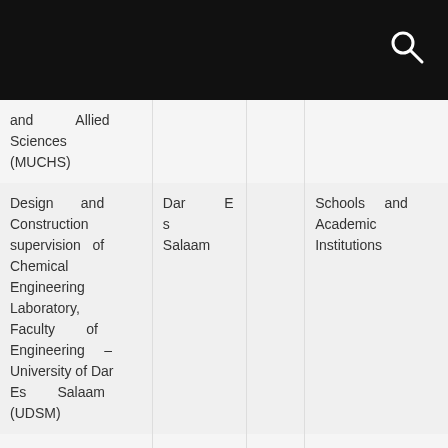| Project/Service | Location |  | Client/Sector |
| --- | --- | --- | --- |
| and Allied Sciences (MUCHS) |  |  |  |
| Design and Construction supervision of Chemical Engineering Laboratory, Faculty of Engineering – University of Dar Es Salaam (UDSM) | Dar Es Salaam |  | Schools and Academic Institutions |
| Design and | Arusha |  | Schools and |